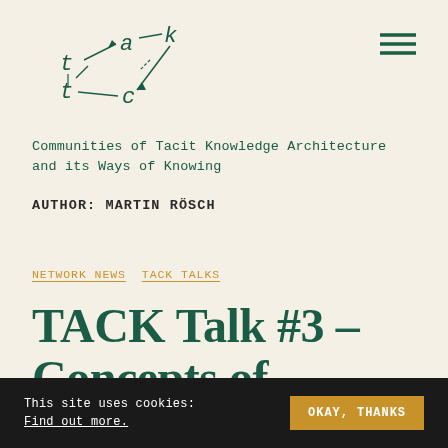[Figure (logo): TACK logo with hand-drawn letter arrangement: t, a, k, t, c in teal/dark green with connecting dashes and arrows]
Communities of Tacit Knowledge Architecture
and its Ways of Knowing
AUTHOR: MARTIN RÖSCH
NETWORK NEWS  TACK TALKS
TACK Talk #3 –
Concepts of
This site uses cookies:
Find out more.
OKAY, THANKS